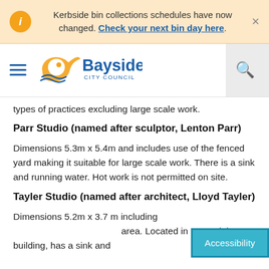Kerbside bin collections schedules have now changed. Check your next bin day here.
[Figure (logo): Bayside City Council logo with stylized fish/wave mark in orange and blue]
types of practices excluding large scale work.
Parr Studio (named after sculptor, Lenton Parr)
Dimensions 5.3m x 5.4m and includes use of the fenced yard making it suitable for large scale work. There is a sink and running water. Hot work is not permitted on site.
Tayler Studio (named after architect, Lloyd Tayler)
Dimensions 5.2m x 3.7 m including area. Located in a standalone building, has a sink and